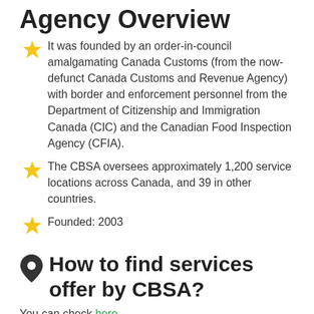Agency Overview
It was founded by an order-in-council amalgamating Canada Customs (from the now-defunct Canada Customs and Revenue Agency) with border and enforcement personnel from the Department of Citizenship and Immigration Canada (CIC) and the Canadian Food Inspection Agency (CFIA).
The CBSA oversees approximately 1,200 service locations across Canada, and 39 in other countries.
Founded: 2003
How to find services offer by CBSA?
You can check here